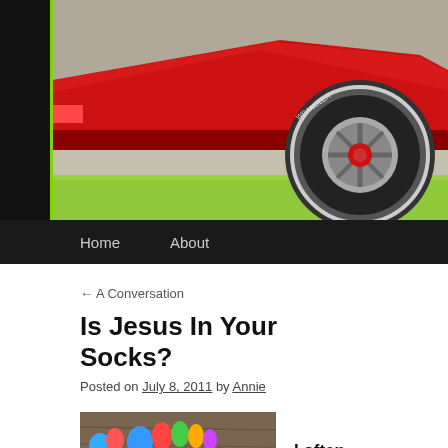[Figure (photo): Close-up of a red race car body and large rear tire on a driveway with green grass in background, black border on left side with green accent line]
Home   About
← A Conversation
Is Jesus In Your Socks?
Posted on July 8, 2011 by Annie
[Figure (photo): Colorful toe socks on feet viewed from above on a wooden surface]
I often ask my g